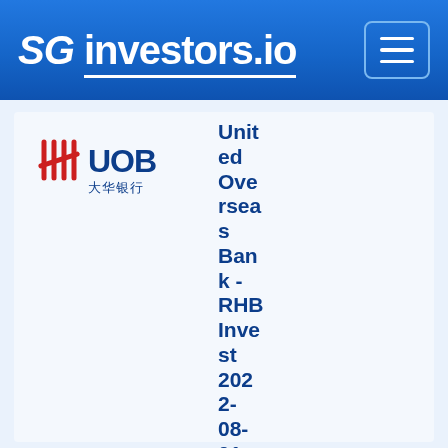SG investors.io
[Figure (logo): UOB (United Overseas Bank) logo with red tally mark bars and Chinese characters 大华银行]
United Overseas Bank - RHB Invest 2022-08-01: Taking A Cautious Stance For